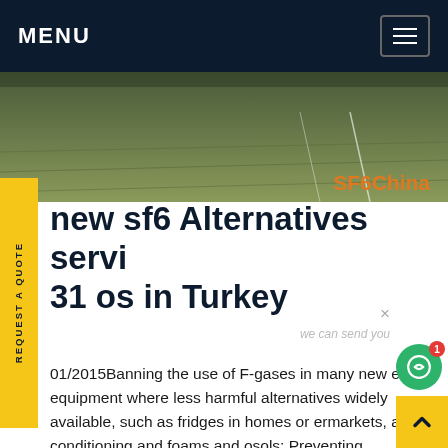MENU
[Figure (photo): Aerial or ground-level photo of a grassy field with line markings, with 'SF6China' orange label overlay in bottom right]
new sf6 Alternatives servi 31 os in Turkey
01/2015Banning the use of F-gases in many new es of equipment where less harmful alternatives widely available, such as fridges in homes or ermarkets, air conditioning and foams and osols; Preventing emissions of F-gases from existing equipment by requiring checks, proper servicing and recovery of the gases at the end of the equipment's life.Get price